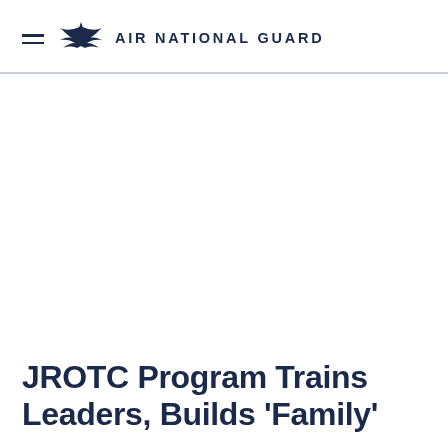AIR NATIONAL GUARD
JROTC Program Trains Leaders, Builds 'Family'